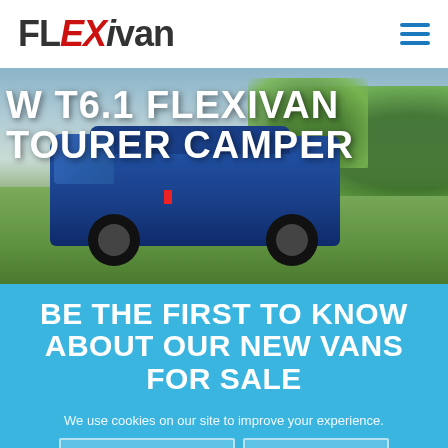[Figure (logo): FLEXivan logo in black and red lettering]
[Figure (photo): Blue VW T6.1 camper van parked on green grass with trees in background, overlaid with text 'VW T6.1 FLEXIVAN TOURER CAMPER']
VW T6.1 FLEXIVAN TOURER CAMPER
BE THE FIRST TO KNOW ABOUT OUR NEW VANS FOR SALE
We use cookies on our site to improve your experience.
OKAY, THANKS    MORE INFO